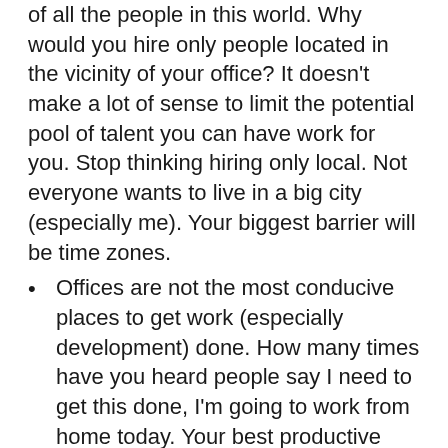of all the people in this world. Why would you hire only people located in the vicinity of your office? It doesn't make a lot of sense to limit the potential pool of talent you can have work for you. Stop thinking hiring only local. Not everyone wants to live in a big city (especially me). Your biggest barrier will be time zones.
Offices are not the most conducive places to get work (especially development) done. How many times have you heard people say I need to get this done, I'm going to work from home today. Your best productive work happens out of the office.
In todays modern world time is your most valuable resource. Working remote allows flexibility for workers to do those things that enrich their lives e.g. going for a bike